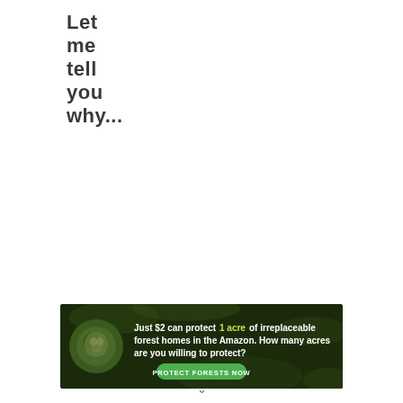Let me tell you why...
[Figure (infographic): Advertisement banner for Amazon forest protection. Dark background with foliage imagery and a sloth. Text reads: 'Just $2 can protect 1 acre of irreplaceable forest homes in the Amazon. How many acres are you willing to protect?' with a green 'PROTECT FORESTS NOW' button.]